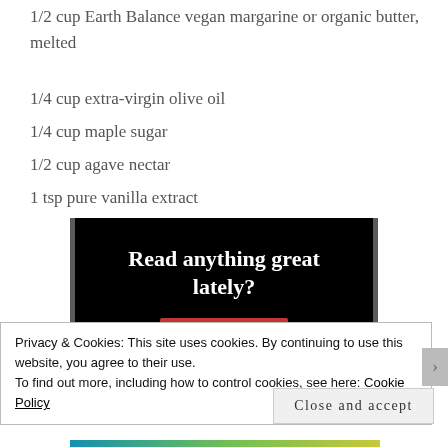1/2 cup Earth Balance vegan margarine or organic butter, melted
1/4 cup extra-virgin olive oil
1/4 cup maple sugar
1/2 cup agave nectar
1 tsp pure vanilla extract
[Figure (screenshot): Advertisement banner with black background reading 'Read anything great lately?' with a red 'Start reading' button]
Privacy & Cookies: This site uses cookies. By continuing to use this website, you agree to their use.
To find out more, including how to control cookies, see here: Cookie Policy
Close and accept